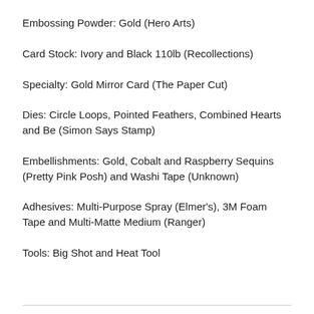Embossing Powder: Gold (Hero Arts)
Card Stock: Ivory and Black 110lb (Recollections)
Specialty: Gold Mirror Card (The Paper Cut)
Dies: Circle Loops, Pointed Feathers, Combined Hearts and Be (Simon Says Stamp)
Embellishments: Gold, Cobalt and Raspberry Sequins (Pretty Pink Posh) and Washi Tape (Unknown)
Adhesives: Multi-Purpose Spray (Elmer's), 3M Foam Tape and Multi-Matte Medium (Ranger)
Tools: Big Shot and Heat Tool